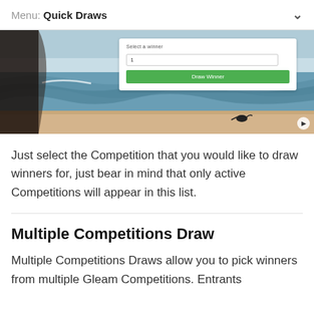Menu: Quick Draws
[Figure (screenshot): A screenshot showing a beach scene with a Gleam competition interface overlay featuring a number input field and a green 'Draw Winner' button]
Just select the Competition that you would like to draw winners for, just bear in mind that only active Competitions will appear in this list.
Multiple Competitions Draw
Multiple Competitions Draws allow you to pick winners from multiple Gleam Competitions. Entrants